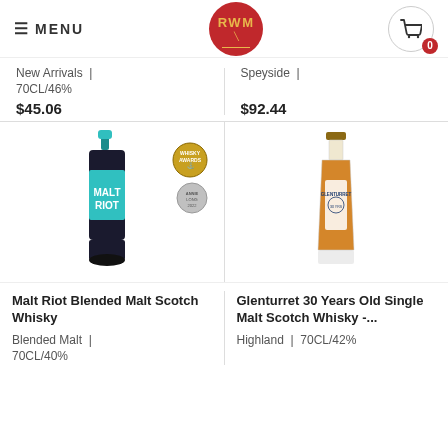≡ MENU | RWM | Cart 0
New Arrivals | 70CL/46% $45.06
Speyside | $92.44
[Figure (photo): Malt Riot Blended Malt Scotch Whisky bottle with teal label, Whisky Awards gold medal and silver medal]
[Figure (photo): Glenturret 30 Years Old Single Malt Scotch Whisky rectangular bottle with amber whisky]
Malt Riot Blended Malt Scotch Whisky
Blended Malt | 70CL/40%
Glenturret 30 Years Old Single Malt Scotch Whisky -...
Highland | 70CL/42%